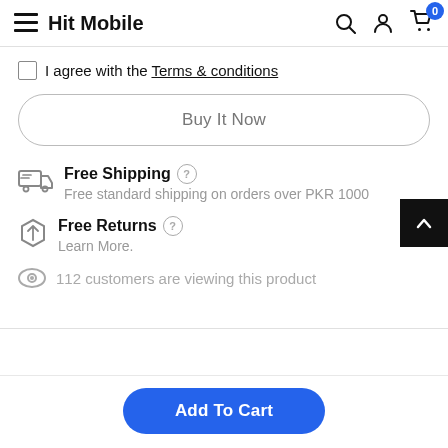Hit Mobile
I agree with the Terms & conditions
Buy It Now
Free Shipping — Free standard shipping on orders over PKR 1000
Free Returns — Learn More.
112 customers are viewing this product
Add To Cart